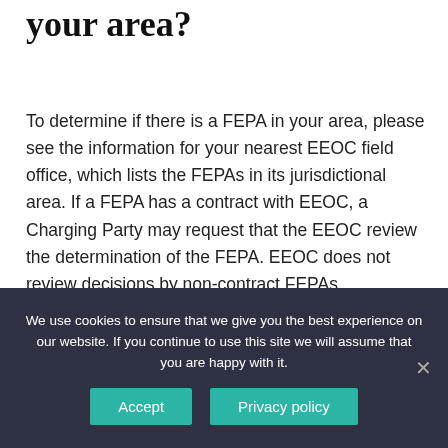your area?
To determine if there is a FEPA in your area, please see the information for your nearest EEOC field office, which lists the FEPAs in its jurisdictional area. If a FEPA has a contract with EEOC, a Charging Party may request that the EEOC review the determination of the FEPA. EEOC does not review decisions by non-contract FEPAs.
We use cookies to ensure that we give you the best experience on our website. If you continue to use this site we will assume that you are happy with it.